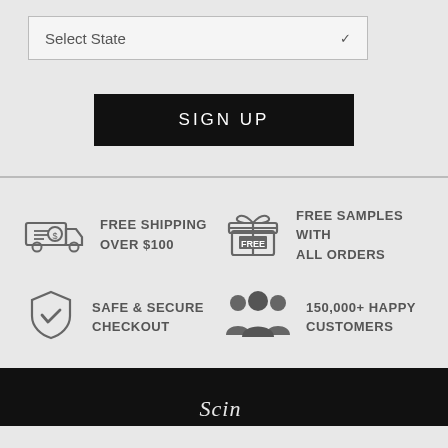[Figure (screenshot): Select State dropdown input box]
[Figure (screenshot): SIGN UP button (black background, white text)]
[Figure (infographic): Four feature icons with text: FREE SHIPPING OVER $100, FREE SAMPLES WITH ALL ORDERS, SAFE & SECURE CHECKOUT, 150,000+ HAPPY CUSTOMERS]
Scin...